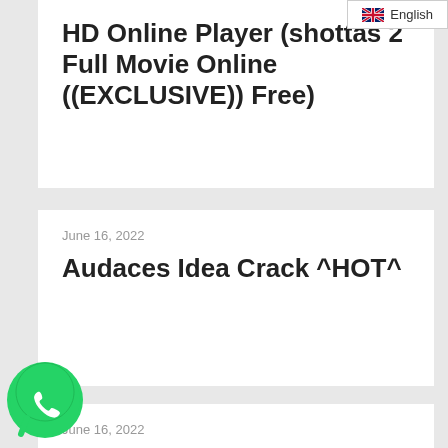English
HD Online Player (shottas 2 Full Movie Online ((EXCLUSIVE)) Free)
June 16, 2022
Audaces Idea Crack ^HOT^
June 16, 2022
Special A Episode 25 English Dub 1080p Torrent
[Figure (illustration): WhatsApp green chat bubble logo icon]